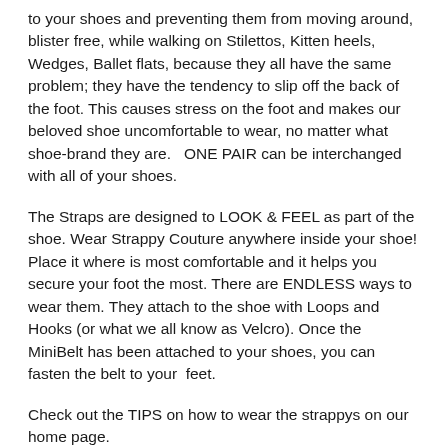to your shoes and preventing them from moving around, blister free, while walking on Stilettos, Kitten heels, Wedges, Ballet flats, because they all have the same problem; they have the tendency to slip off the back of the foot. This causes stress on the foot and makes our beloved shoe uncomfortable to wear, no matter what shoe-brand they are.   ONE PAIR can be interchanged with all of your shoes.
The Straps are designed to LOOK & FEEL as part of the shoe. Wear Strappy Couture anywhere inside your shoe! Place it where is most comfortable and it helps you secure your foot the most. There are ENDLESS ways to wear them. They attach to the shoe with Loops and Hooks (or what we all know as Velcro). Once the MiniBelt has been attached to your shoes, you can fasten the belt to your feet.
Check out the TIPS on how to wear the strappys on our home page.
The MiniBelt Strappy - ORGANIC  is made with high quality vegan friendly materials compatible with ANY size and Different shoe style